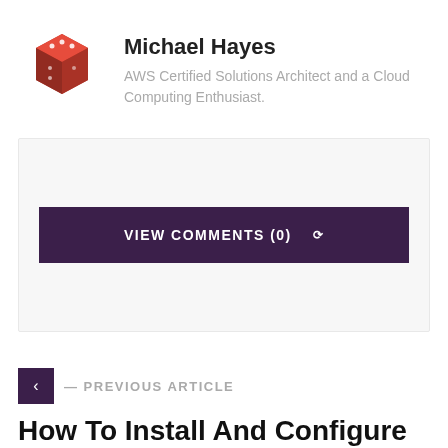[Figure (illustration): Red dice/cube logo avatar for Michael Hayes]
Michael Hayes
AWS Certified Solutions Architect and a Cloud Computing Enthusiast.
[Figure (other): VIEW COMMENTS (0) button with chevron, dark purple background]
— PREVIOUS ARTICLE
How To Install And Configure Saltstack Configuration Management System